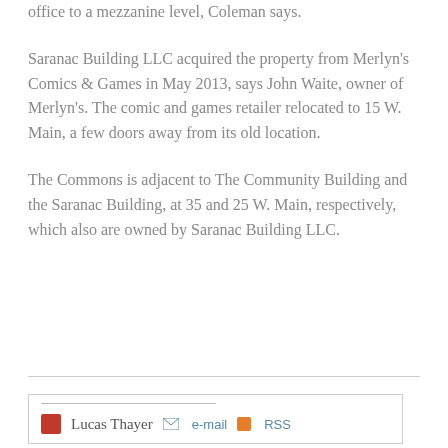office to a mezzanine level, Coleman says.
Saranac Building LLC acquired the property from Merlyn's Comics & Games in May 2013, says John Waite, owner of Merlyn's. The comic and games retailer relocated to 15 W. Main, a few doors away from its old location.
The Commons is adjacent to The Community Building and the Saranac Building, at 35 and 25 W. Main, respectively, which also are owned by Saranac Building LLC.
Lucas Thayer   e-mail   RSS